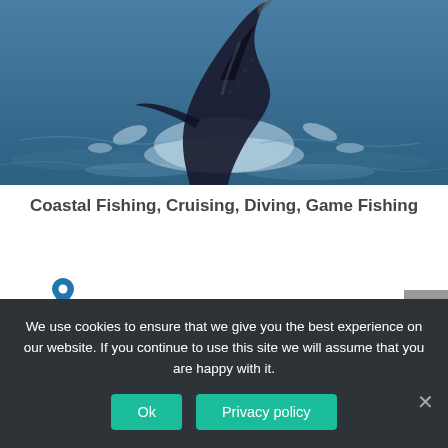[Figure (photo): A marlin or swordfish leaping out of blue ocean water, photographed from a low angle, with water spray around it. The fish's tail and body are visible against a blue sea background.]
Coastal Fishing, Cruising, Diving, Game Fishing
Coromandel East – Whangamata
We use cookies to ensure that we give you the best experience on our website. If you continue to use this site we will assume that you are happy with it.
Ok
Privacy policy